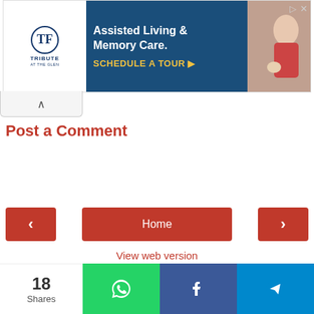[Figure (screenshot): Advertisement banner for 'Tribute at the Glen' assisted living and memory care facility. Left side shows logo on white background. Right side has dark blue background with text 'Assisted Living & Memory Care. SCHEDULE A TOUR ▶' and a photo of an elderly woman with a dog on the far right.]
Post a Comment
[Figure (screenshot): Navigation controls: left arrow button (red), Home button (red, centered), right arrow button (red)]
View web version
Featured Posts
[Figure (screenshot): Telegram channel promotion banner with two Telegram paper plane logos and text 'Join our Telegram Channel']
[Figure (screenshot): Social share bar showing 18 Shares, WhatsApp share button (green), Facebook share button (blue), Telegram share button (light blue)]